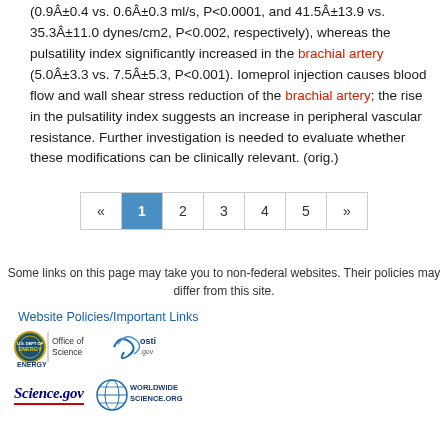(0.9Â±0.4 vs. 0.6Â±0.3 ml/s, P<0.0001, and 41.5Â±13.9 vs. 35.3Â±11.0 dynes/cm2, P<0.002, respectively), whereas the pulsatility index significantly increased in the brachial artery (5.0Â±3.3 vs. 7.5Â±5.3, P<0.001). Iomeprol injection causes blood flow and wall shear stress reduction of the brachial artery; the rise in the pulsatility index suggests an increase in peripheral vascular resistance. Further investigation is needed to evaluate whether these modifications can be clinically relevant. (orig.)
« 1 2 3 4 5 »
Some links on this page may take you to non-federal websites. Their policies may differ from this site.
Website Policies/Important Links
[Figure (logo): U.S. Department of Energy Office of Science logo, osti.gov logo, Science.gov logo, WorldWideScience.org logo]